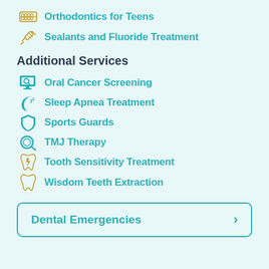Orthodontics for Teens
Sealants and Fluoride Treatment
Additional Services
Oral Cancer Screening
Sleep Apnea Treatment
Sports Guards
TMJ Therapy
Tooth Sensitivity Treatment
Wisdom Teeth Extraction
Dental Emergencies